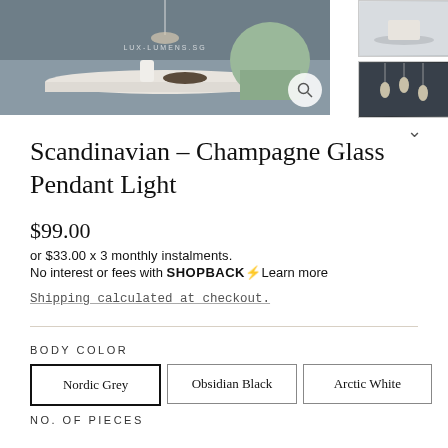[Figure (photo): Product photo of Scandinavian Champagne Glass Pendant Light with watermark LUX-LUMENS.SG, with two thumbnail images on the right]
Scandinavian – Champagne Glass Pendant Light
$99.00
or $33.00 x 3 monthly instalments.
No interest or fees with SHOPBACK⚡Learn more
Shipping calculated at checkout.
BODY COLOR
Nordic Grey | Obsidian Black | Arctic White
NO. OF PIECES
1 Piece Only
3 Piece Set with Round 30 CM Rose